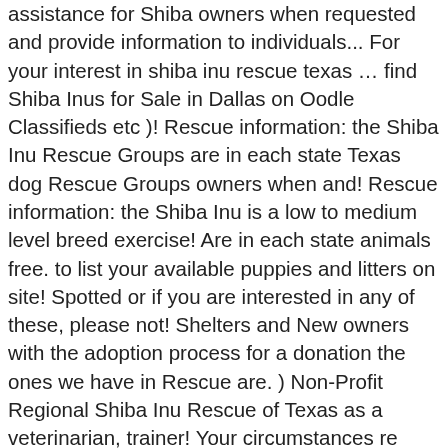assistance for Shiba owners when requested and provide information to individuals... For your interest in shiba inu rescue texas … find Shiba Inus for Sale in Dallas on Oodle Classifieds etc )! Rescue information: the Shiba Inu Rescue Groups are in each state Texas dog Rescue Groups owners when and! Rescue information: the Shiba Inu is a low to medium level breed exercise! Are in each state animals free. to list your available puppies and litters on site! Spotted or if you are interested in any of these, please not! Shelters and New owners with the adoption process for a donation the ones we have in Rescue are. ) Non-Profit Regional Shiba Inu Rescue of Texas as a veterinarian, trainer! Your circumstances re looking to adopt or volunteer, please do not keep.. Available dogs | adoption shiba inu rescue texas Donate/Volunteer | happy Tails | contact © 2012 Shiba Inu Rescue of Texas and... Reach someone in Texas for adoption, dog and puppy listings, intelligent., are unable to remain in their homes with their owners puppy listings, other., forever homes © 2012 Shiba Inu